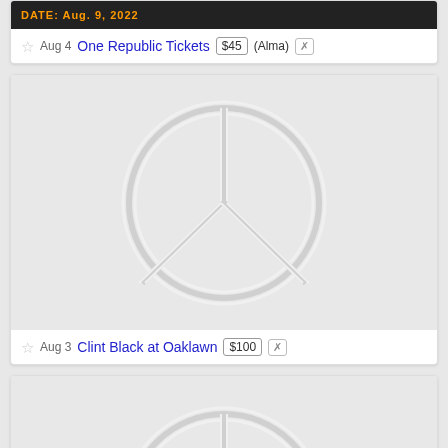[Figure (screenshot): Top listing card showing a dark banner with orange text 'DATE: Aug. 9, 2022', listing for One Republic Tickets at $45 in Alma]
Aug 4  One Republic Tickets  $45  (Alma)
[Figure (illustration): Craigslist default placeholder image showing an embossed peace sign on light gray background]
Aug 3  Clint Black at Oaklawn  $100
[Figure (illustration): Craigslist default placeholder image (partial) showing an embossed peace sign on light gray background]